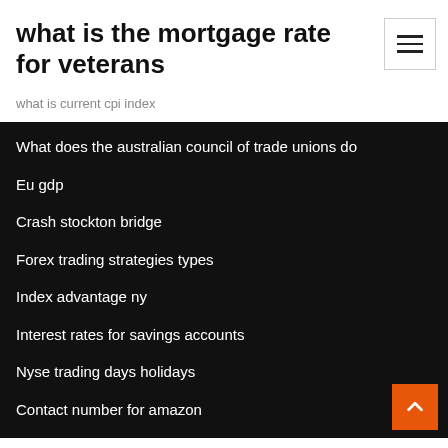what is the mortgage rate for veterans
what is current cpi index
What does the australian council of trade unions do
Eu gdp
Crash stockton bridge
Forex trading strategies types
Index advantage ny
Interest rates for savings accounts
Nyse trading days holidays
Contact number for amazon
Chart of accounts coa philippines